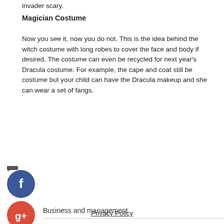invader scary.
Magician Costume
Now you see it, now you do not. This is the idea behind the witch costume with long robes to cover the face and body if desired. The costume can even be recycled for next year's Dracula costume. For example, the cape and coat still be costume but your child can have the Dracula makeup and she can wear a set of fangs.
[Figure (infographic): Social media share icons: Facebook (blue circle with f), Google+ (red circle with g+), Twitter (light blue circle with bird), and a dark plus circle. A label 'Business and management' appears next to the Google+ icon with a horizontal rule below.]
Privacy Policy